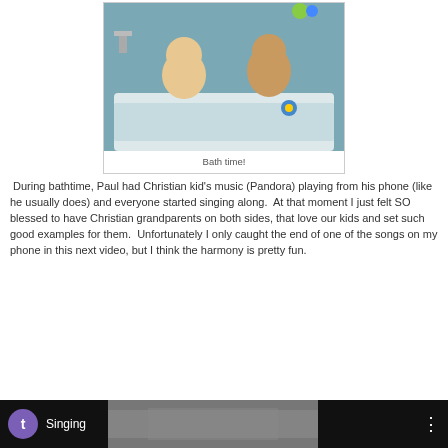[Figure (photo): Two young children sitting in a bathtub, smiling, with bath toys visible]
Bath time!
During bathtime, Paul had Christian kid's music (Pandora) playing from his phone (like he usually does) and everyone started singing along.  At that moment I just felt SO blessed to have Christian grandparents on both sides, that love our kids and set such good examples for them.  Unfortunately I only caught the end of one of the songs on my phone in this next video, but I think the harmony is pretty fun.
[Figure (screenshot): Video player thumbnail showing 'Singing' with a purple avatar icon with letter t, and three-dot menu icon on dark background]